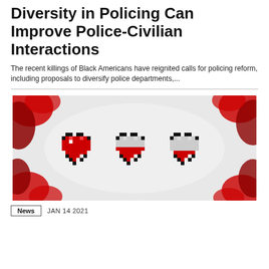Diversity in Policing Can Improve Police-Civilian Interactions
The recent killings of Black Americans have reignited calls for policing reform, including proposals to diversify police departments,...
[Figure (illustration): Pixel art style three hearts in varying states of fullness (full, half, nearly empty) set against a textured white/gray background surrounded by red and black abstract shapes.]
News   JAN 14 2021